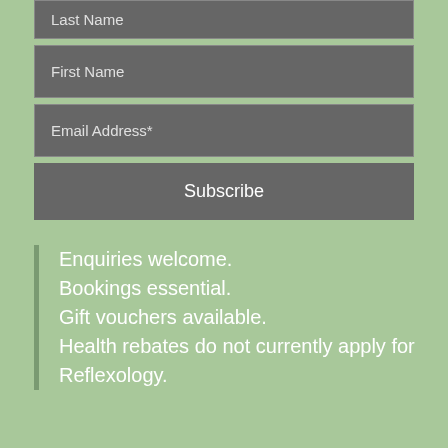Last Name
First Name
Email Address*
Subscribe
Enquiries welcome.
Bookings essential.
Gift vouchers available.
Health rebates do not currently apply for Reflexology.